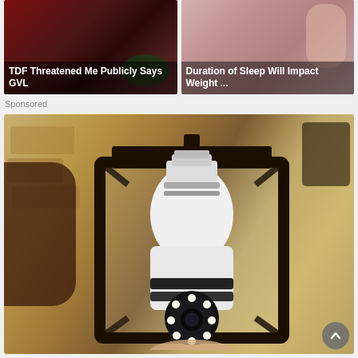[Figure (photo): Thumbnail image with red background showing tools/electric items, with white bold text overlay: 'TDF Threatened Me Publicly Says GVL']
[Figure (photo): Thumbnail image with person/female background, with white bold text overlay: 'Duration of Sleep Will Impact Weight ...']
Sponsored
[Figure (photo): Large sponsored advertisement image showing a light bulb security camera being installed into an outdoor lantern fixture mounted on a stone wall. A scroll-to-top arrow button appears in the bottom right corner.]